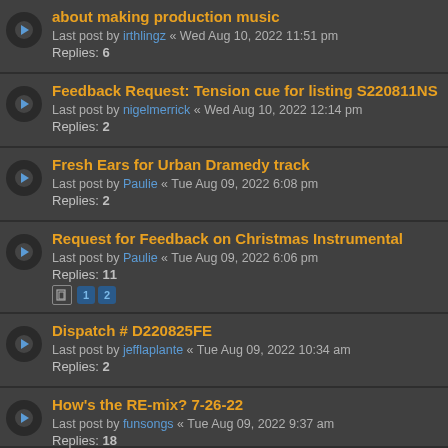about making production music
Last post by irthlingz « Wed Aug 10, 2022 11:51 pm
Replies: 6
Feedback Request: Tension cue for listing S220811NS
Last post by nigelmerrick « Wed Aug 10, 2022 12:14 pm
Replies: 2
Fresh Ears for Urban Dramedy track
Last post by Paulie « Tue Aug 09, 2022 6:08 pm
Replies: 2
Request for Feedback on Christmas Instrumental
Last post by Paulie « Tue Aug 09, 2022 6:06 pm
Replies: 11
Pages: 1 2
Dispatch # D220825FE
Last post by jefflaplante « Tue Aug 09, 2022 10:34 am
Replies: 2
How's the RE-mix? 7-26-22
Last post by funsongs « Tue Aug 09, 2022 9:37 am
Replies: 18
Pages: 1 2